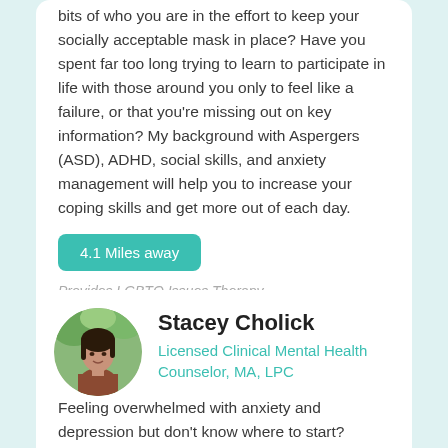bits of who you are in the effort to keep your socially acceptable mask in place? Have you spent far too long trying to learn to participate in life with those around you only to feel like a failure, or that you're missing out on key information? My background with Aspergers (ASD), ADHD, social skills, and anxiety management will help you to increase your coping skills and get more out of each day.
4.1 Miles away
Provides LGBTQ Issues Therapy
[Figure (photo): Circular profile photo of Stacey Cholick, a woman with dark hair wearing a brown/rust colored top, photographed outdoors with green foliage in background.]
Stacey Cholick
Licensed Clinical Mental Health Counselor, MA, LPC
Feeling overwhelmed with anxiety and depression but don't know where to start? Wanting to make connections with others